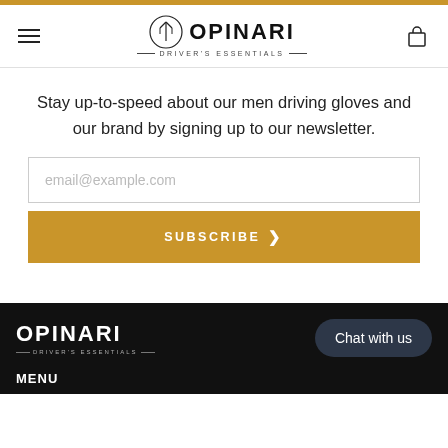[Figure (logo): Opinari Driver's Essentials logo with circular emblem and shopping bag icon in header]
Stay up-to-speed about our men driving gloves and our brand by signing up to our newsletter.
[Figure (screenshot): Email input field with placeholder 'email@example.com']
[Figure (screenshot): Golden Subscribe button with right arrow]
[Figure (logo): Opinari Driver's Essentials white logo in footer with Chat with us button]
MENU